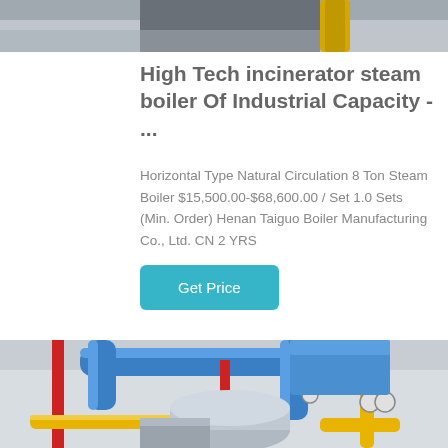[Figure (photo): Top portion of industrial boiler/incinerator equipment photo, partially cropped]
High Tech incinerator steam boiler Of Industrial Capacity - ...
Horizontal Type Natural Circulation 8 Ton Steam Boiler $15,500.00-$68,600.00 / Set 1.0 Sets (Min. Order) Henan Taiguo Boiler Manufacturing Co., Ltd. CN 2 YRS
[Figure (photo): Industrial steam boiler room with blue pipes, red pipes, yellow gas pipes, and cylindrical boiler units installed in a facility]
Get Price